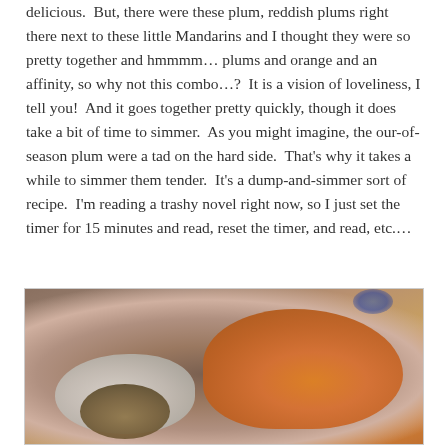delicious.  But, there were these plum, reddish plums right there next to these little Mandarins and I thought they were so pretty together and hmmmm… plums and orange and an affinity, so why not this combo…?  It is a vision of loveliness, I tell you!  And it goes together pretty quickly, though it does take a bit of time to simmer.  As you might imagine, the our-of-season plum were a tad on the hard side.  That's why it takes a while to simmer them tender.  It's a dump-and-simmer sort of recipe.  I'm reading a trashy novel right now, so I just set the timer for 15 minutes and read, reset the timer, and read, etc.…
[Figure (photo): A metal bowl containing cooking ingredients: chopped orange/mandarin pieces on the right, white chopped onions in the center-left, and brown grain/seeds in the lower-left, on a stainless steel surface.]